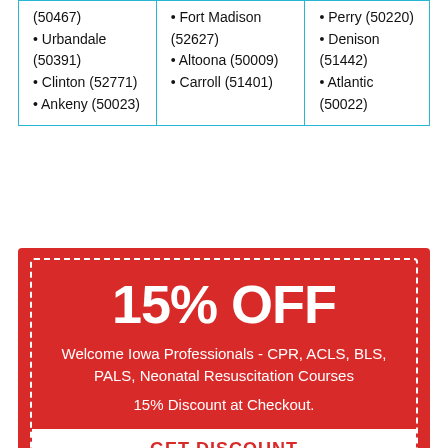| Column1 | Column2 | Column3 |
| --- | --- | --- |
| (50467)
• Urbandale (50391)
• Clinton (52771)
• Ankeny (50023) | • Fort Madison (52627)
• Altoona (50009)
• Carroll (51401) | • Perry (50220)
• Denison (51442)
• Atlantic (50022) |
15% OFF
Welcome Iowa Professionals - CPR, ACLS, BLS, PALS, Neonatal Resuscitation Courses
15% Discount at Checkout.
GET DISCOUNT